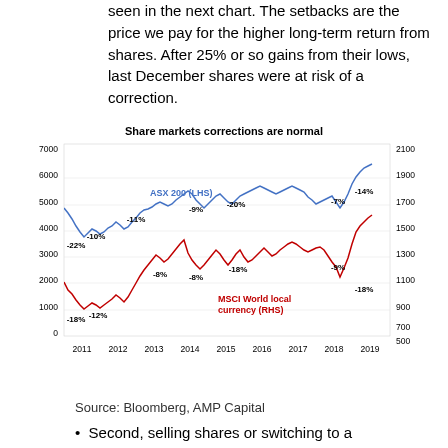seen in the next chart. The setbacks are the price we pay for the higher long-term return from shares. After 25% or so gains from their lows, last December shares were at risk of a correction.
[Figure (line-chart): Dual-axis line chart showing ASX 200 (LHS, blue) and MSCI World local currency (RHS, red) from 2011 to 2019 with correction percentages labeled: ASX corrections -22%, -10%, -11%, -9%, -20%, -7%, -14%; MSCI corrections -18%, -12%, -8%, -8%, -18%, -9%, -18%.]
Source: Bloomberg, AMP Capital
Second, selling shares or switching to a